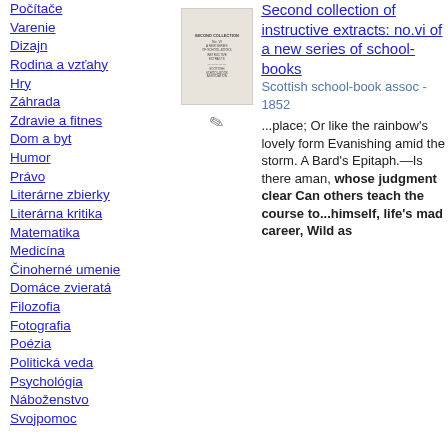Počítače
Varenie
Dizajn
Rodina a vzťahy
Hry
Záhrada
Zdravie a fitnes
Dom a byt
Humor
Právo
Literárne zbierky
Literárna kritika
Matematika
Medicína
Činoherné umenie
Domáce zvieratá
Filozofia
Fotografia
Poézia
Politická veda
Psychológia
Náboženstvo
Svojpomoc
[Figure (photo): Thumbnail image of a book cover for 'Second collection of instructive extracts: no.vi of a new series of school-books']
Second collection of instructive extracts: no.vi of a new series of school-books
Scottish school-book assoc - 1852
...place; Or like the rainbow's lovely form Evanishing amid the storm. A Bard's Epitaph.—Is there aman, whose judgment clear Can others teach the course to...himself, life's mad career, Wild as